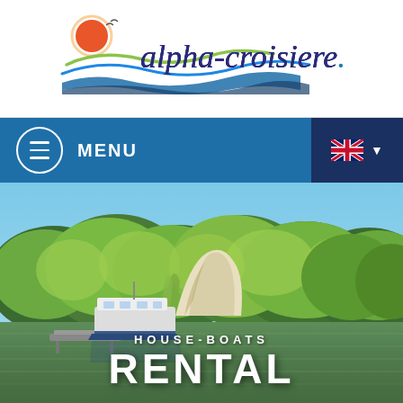[Figure (logo): alpha-croisiere.com logo with stylized boat/wave and sun graphic on white background]
[Figure (screenshot): Navigation bar with hamburger menu circle icon and MENU label on blue background, UK flag dropdown on dark blue right side]
[Figure (photo): Scenic river photo with green trees, limestone cliffs, a houseboat moored at a dock, reflecting calm water, with HOUSE-BOATS RENTAL text overlay]